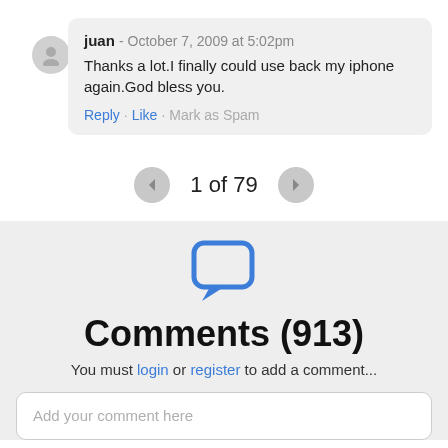juan - October 7, 2009 at 5:02pm
Thanks a lot.I finally could use back my iphone again.God bless you.
Reply · Like · Mark as Spam
1 of 79
Comments (913)
You must login or register to add a comment...
Add your comment here